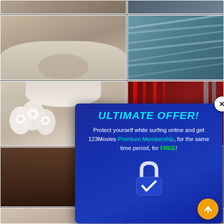[Figure (screenshot): Website screenshot showing a grid of blurred photos with an advertising popup modal overlay]
[Figure (infographic): Modal popup with dark blue background showing 'ULTIMATE OFFER!' headline, promotional text for 123Movies Premium Membership, a padlock icon with checkmark, and an orange up-arrow button]